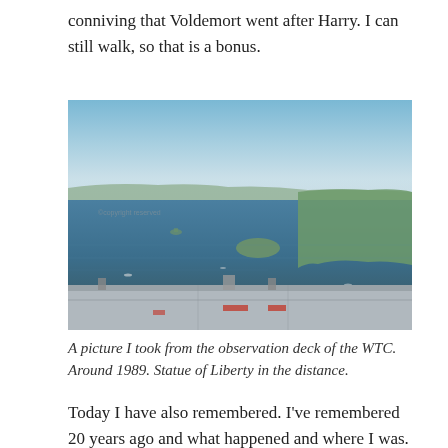conniving that Voldemort went after Harry. I can still walk, so that is a bonus.
[Figure (photo): Aerial photograph taken from the observation deck of the World Trade Center showing New York Harbor, with the Statue of Liberty visible in the distance and Ellis Island in the foreground water. The bottom portion shows the rooftop structure of the WTC. Circa 1989.]
A picture I took from the observation deck of the WTC. Around 1989. Statue of Liberty in the distance.
Today I have also remembered. I've remembered 20 years ago and what happened and where I was. What